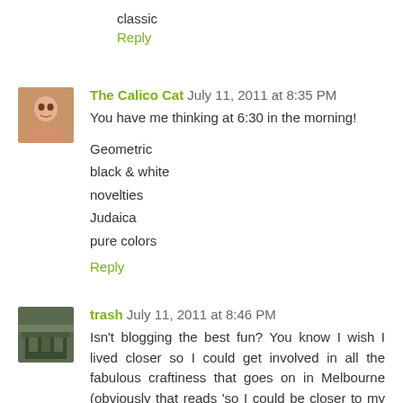classic
Reply
The Calico Cat July 11, 2011 at 8:35 PM
You have me thinking at 6:30 in the morning!
Geometric
black & white
novelties
Judaica
pure colors
Reply
trash July 11, 2011 at 8:46 PM
Isn't blogging the best fun? You know I wish I lived closer so I could get involved in all the fabulous craftiness that goes on in Melbourne (obviously that reads 'so I could be closer to my family';-) but being able to share lives and